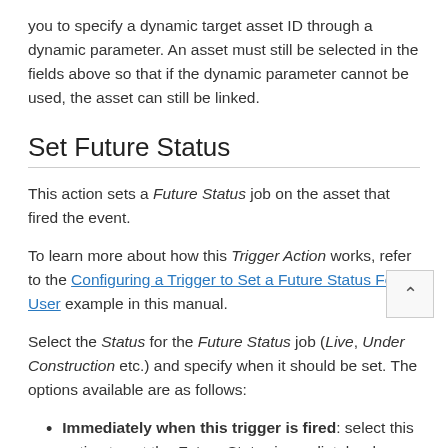you to specify a dynamic target asset ID through a dynamic parameter. An asset must still be selected in the fields above so that if the dynamic parameter cannot be used, the asset can still be linked.
Set Future Status
This action sets a Future Status job on the asset that fired the event.
To learn more about how this Trigger Action works, refer to the Configuring a Trigger to Set a Future Status For a User example in this manual.
Select the Status for the Future Status job (Live, Under Construction etc.) and specify when it should be set. The options available are as follows:
Immediately when this trigger is fired: select this option to set the Future Status immediately when the